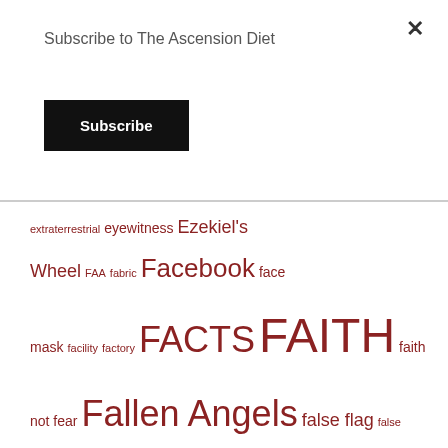Subscribe to The Ascension Diet
Subscribe
extraterrestrial eyewitness Ezekiel's Wheel FAA fabric Facebook face mask facility factory FACTS FAITH faith not fear Fallen Angels false flag false flag drills false science FAMILY family and friends family history famine farmed souls fasciolopsis buski fascism fasting fasting increases sight father of lies is satan FDA FE fear FEAR is false evidence appearing real feathered serpent FEMA FEMA camps feminism fentanyl fetal cells fetish Fibonacci Fig Tree Generation film filter final kali yug fire FLAT EARTH flax FLUORIDE flush fly-by fog food forgiveness forehead FOREVER FORGIVENESS